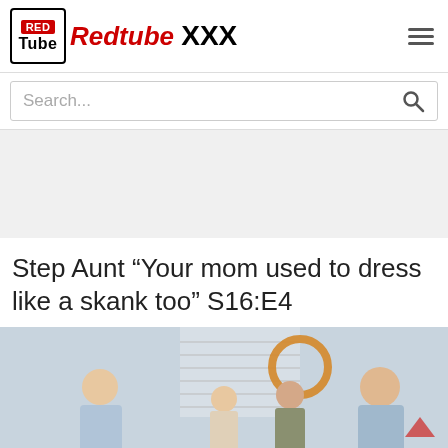Redtube XXX
Search...
Step Aunt “Your mom used to dress like a skank too” S16:E4
[Figure (photo): Video thumbnail showing people in a scene]